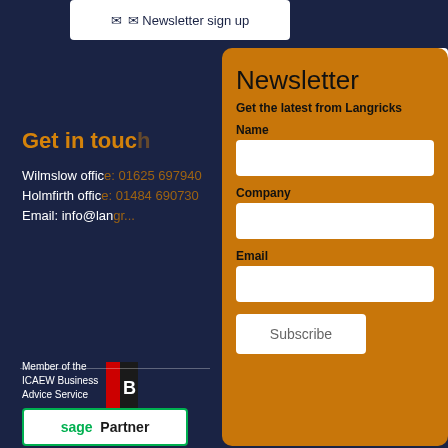Newsletter sign up
Get in touch
Wilmslow office: 01625 697940
Holmfirth office: 01484 690730
Email: info@langricks...
Member of the ICAEW Business Advice Service
Newsletter
Get the latest from Langricks
Name
Company
Email
Subscribe
CLOSE
sage Partner